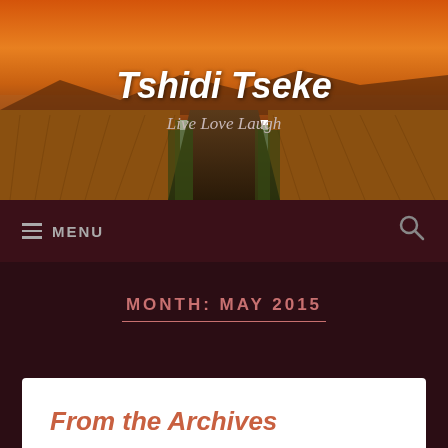[Figure (photo): Sunset landscape photo showing a dirt road leading into the horizon flanked by golden wheat or grass fields, with mountains in the distance and a warm orange sky]
Tshidi Tseke
Live Love Laugh
≡ MENU
MONTH: MAY 2015
From the Archives